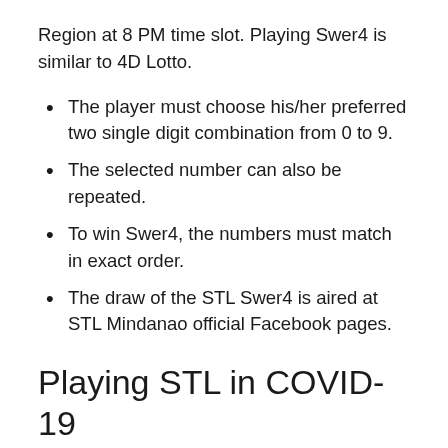Region at 8 PM time slot. Playing Swer4 is similar to 4D Lotto.
The player must choose his/her preferred two single digit combination from 0 to 9.
The selected number can also be repeated.
To win Swer4, the numbers must match in exact order.
The draw of the STL Swer4 is aired at STL Mindanao official Facebook pages.
Playing STL in COVID-19